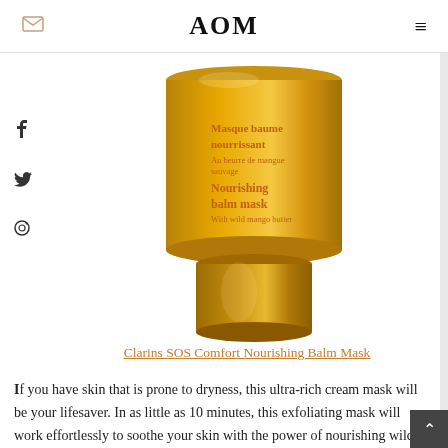AOM
[Figure (photo): Gold/yellow cylindrical cream jar product shot of Clarins SOS Comfort Nourishing Balm Mask with orange text label reading 'Masque baume nourrissant Au beurre de mangue sauvage / Nourishing balm mask With wild mango butter']
Clarins SOS Comfort Nourishing Balm Mask
If you have skin that is prone to dryness, this ultra-rich cream mask will be your lifesaver. In as little as 10 minutes, this exfoliating mask will work effortlessly to soothe your skin with the power of nourishing wild mango butter, leaving it softer than you can imagine. Your skin will be visibly radiant from the first use and the